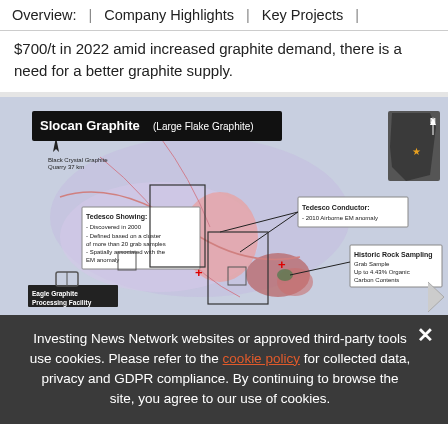Overview: | Company Highlights | Key Projects |
$700/t in 2022 amid increased graphite demand, there is a need for a better graphite supply.
[Figure (map): Slocan Graphite (Large Flake Graphite) map showing Tedesco Showing, Tedesco Conductor - 2010 Airborne EM anomaly, Historic Rock Sampling Grab Sample Up to 4.43% Organic Carbon Contents, Eagle Graphite Processing Facility, Black Crystal Graphite Quarry 37 km, and a regional map inset of BC with location marker.]
Investing News Network websites or approved third-party tools use cookies. Please refer to the cookie policy for collected data, privacy and GDPR compliance. By continuing to browse the site, you agree to our use of cookies.